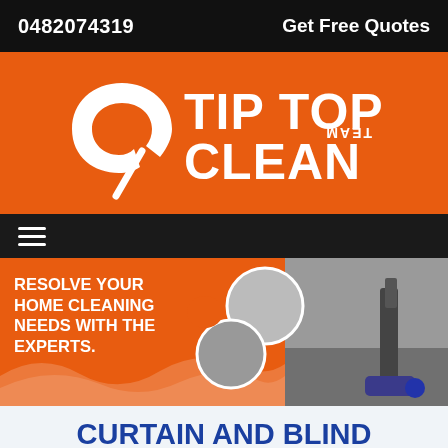0482074319   Get Free Quotes
[Figure (logo): Tip Top Clean Team logo — white text and swirl graphic on orange background]
[Figure (infographic): Navigation bar with hamburger menu icon on dark background]
[Figure (infographic): Banner with text 'RESOLVE YOUR HOME CLEANING NEEDS WITH THE EXPERTS.' on orange background with circular photos of cleaning services and carpet cleaning machine on right]
CURTAIN AND BLIND CLEANING MULGOWI
Home / Curtain Cleaning QLD / Curtain And Blind Cle…